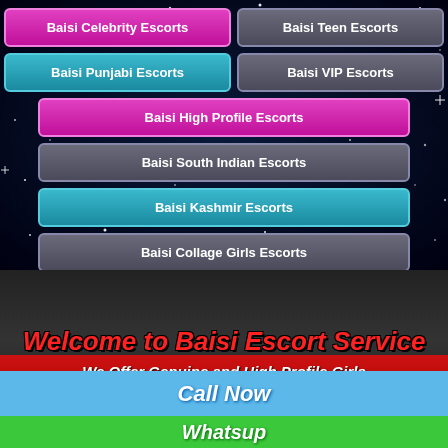Baisi Celebrity Escorts
Baisi Teen Escorts
Baisi Punjabi Escorts
Baisi VIP Escorts
Baisi High Profile Escorts
Baisi South Indian Escorts
Baisi Kashmir Escorts
Baisi Collage Girls Escorts
Welcome to Baisi Escort Service by Miss Denizli
We Offer Genuine and High Profile Girls Top Class Models Available Now
Call Now
Whatsup